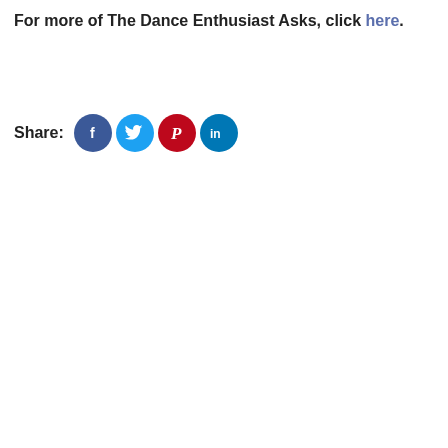For more of The Dance Enthusiast Asks, click here.
[Figure (other): Share icons row: Facebook (blue circle with f), Twitter (sky blue circle with bird), Pinterest (red circle with P), LinkedIn (teal circle with in). Preceded by 'Share:' label.]